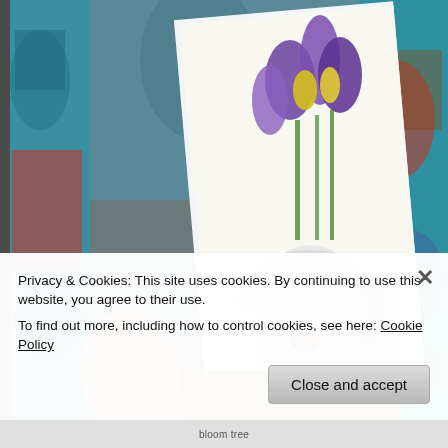[Figure (photo): A photograph showing a person holding a watercolor painting of a white metal pitcher/teapot with purple irises and yellow daffodils, against a colorful patterned fabric backdrop in blue, red, and teal.]
Privacy & Cookies: This site uses cookies. By continuing to use this website, you agree to their use.
To find out more, including how to control cookies, see here: Cookie Policy
Close and accept